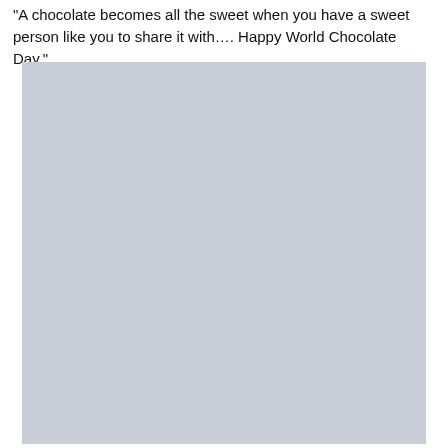"A chocolate becomes all the sweet when you have a sweet person like you to share it with…. Happy World Chocolate Day."
[Figure (photo): A large light gray/blue-gray rectangular image placeholder, likely a photograph related to World Chocolate Day.]